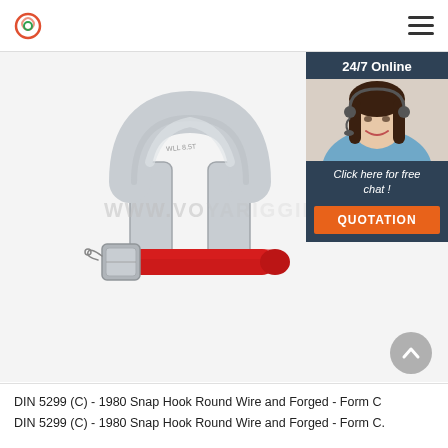Logo and navigation menu
[Figure (photo): A galvanized steel D-shackle (DIN 5299 Form C) with a red-painted bolt/pin and hex nut, shown on a light grey background. Watermark text reads WWW.VOYARIGGING.]
Click here for free chat !
QUOTATION
DIN 5299 (C) - 1980 Snap Hook Round Wire and Forged - Form C
DIN 5299 (C) - 1980 Snap Hook Round Wire and Forged - Form C.